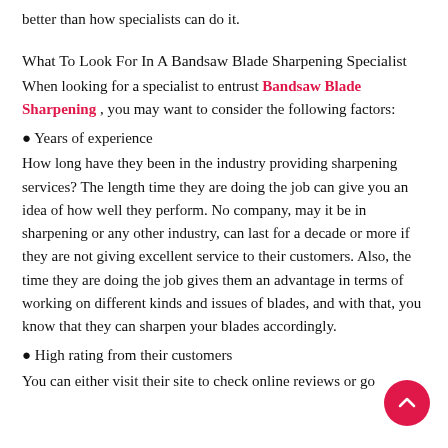better than how specialists can do it.
What To Look For In A Bandsaw Blade Sharpening Specialist
When looking for a specialist to entrust Bandsaw Blade Sharpening , you may want to consider the following factors:
● Years of experience
How long have they been in the industry providing sharpening services? The length time they are doing the job can give you an idea of how well they perform. No company, may it be in sharpening or any other industry, can last for a decade or more if they are not giving excellent service to their customers. Also, the time they are doing the job gives them an advantage in terms of working on different kinds and issues of blades, and with that, you know that they can sharpen your blades accordingly.
● High rating from their customers
You can either visit their site to check online reviews or go